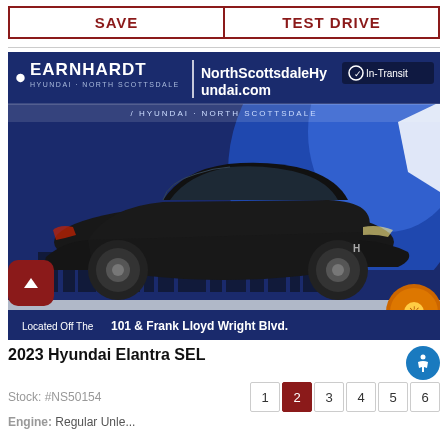SAVE | TEST DRIVE
[Figure (photo): 2023 Hyundai Elantra SEL black sedan shown in Earnhardt Hyundai North Scottsdale dealership promotional image with blue background and city skyline silhouette. Banner shows 'Located Off The 101 & Frank Lloyd Wright Blvd.' and 'In-Transit' badge.]
2023 Hyundai Elantra SEL
Stock: #NS50154
Engine: Regular Unleaded
Page navigation: 1 2 3 4 5 6